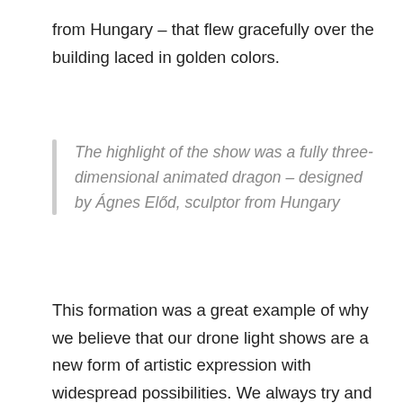from Hungary – that flew gracefully over the building laced in golden colors.
The highlight of the show was a fully three-dimensional animated dragon – designed by Ágnes Előd, sculptor from Hungary
This formation was a great example of why we believe that our drone light shows are a new form of artistic expression with widespread possibilities. We always try and make each of our drone light shows unique by pushing the boundaries in the number of 3D dynamic animations and light effects we deliver. Thanks to our proprietary drone show planning software, Skybrush, we can combine high-level